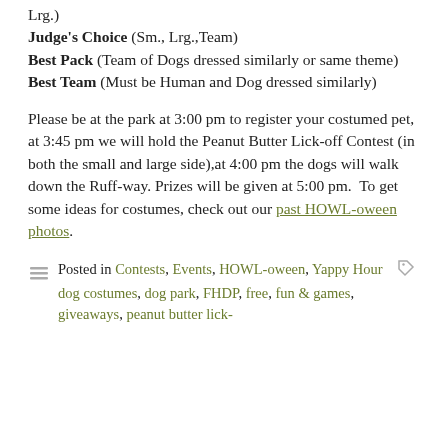Lrg.) Judge's Choice (Sm., Lrg.,Team) Best Pack (Team of Dogs dressed similarly or same theme) Best Team (Must be Human and Dog dressed similarly)
Please be at the park at 3:00 pm to register your costumed pet, at 3:45 pm we will hold the Peanut Butter Lick-off Contest (in both the small and large side),at 4:00 pm the dogs will walk down the Ruff-way. Prizes will be given at 5:00 pm.  To get some ideas for costumes, check out our past HOWL-oween photos.
Posted in Contests, Events, HOWL-oween, Yappy Hour  dog costumes, dog park, FHDP, free, fun & games, giveaways, peanut butter lick-off...